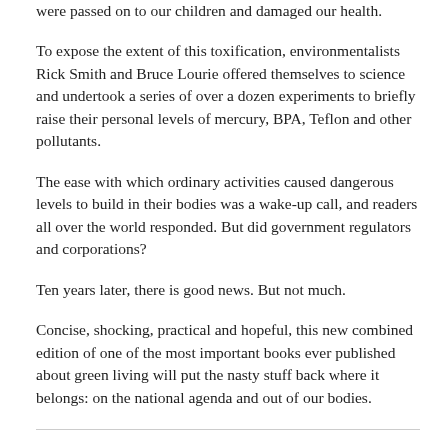were passed on to our children and damaged our health.
To expose the extent of this toxification, environmentalists Rick Smith and Bruce Lourie offered themselves to science and undertook a series of over a dozen experiments to briefly raise their personal levels of mercury, BPA, Teflon and other pollutants.
The ease with which ordinary activities caused dangerous levels to build in their bodies was a wake-up call, and readers all over the world responded. But did government regulators and corporations?
Ten years later, there is good news. But not much.
Concise, shocking, practical and hopeful, this new combined edition of one of the most important books ever published about green living will put the nasty stuff back where it belongs: on the national agenda and out of our bodies.